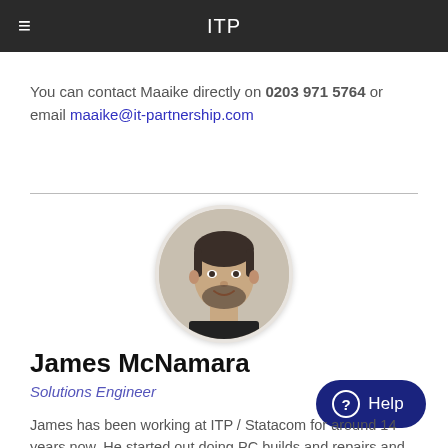ITP
You can contact Maaike directly on 0203 971 5764 or email maaike@it-partnership.com
[Figure (photo): Circular profile photo of James McNamara, a man with short dark hair and a beard, smiling.]
James McNamara
Solutions Engineer
James has been working at ITP / Statacom for around 14 years now. He started out doing PC builds and repairs and